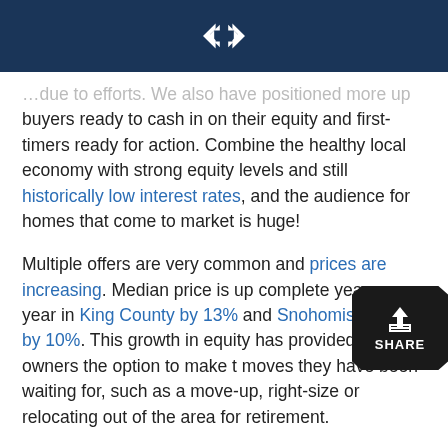[Windermere logo]
…due to efforts. We also have positioned more up buyers ready to cash in on their equity and first-timers ready for action. Combine the healthy local economy with strong equity levels and still historically low interest rates, and the audience for homes that come to market is huge!
Multiple offers are very common and prices are increasing. Median price is up complete year over year in King County by 13% and Snohomish County by 10%. This growth in equity has provided home owners the option to make the moves they have been waiting for, such as a move-up, right-size or relocating out of the area for retirement.
These graphs predict that we will see an increase in new listings as we head into the